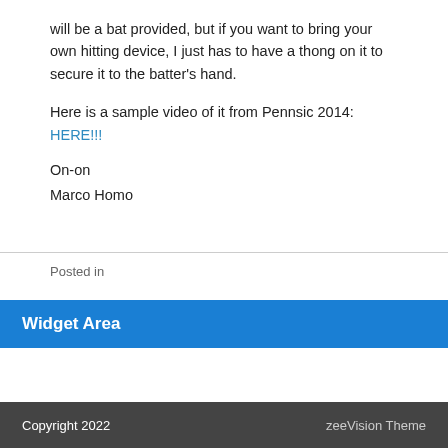will be a bat provided, but if you want to bring your own hitting device, I just has to have a thong on it to secure it to the batter's hand.
Here is a sample video of it from Pennsic 2014: HERE!!!
On-on
Marco Homo
Posted in
Widget Area
Copyright 2022    zeeVision Theme